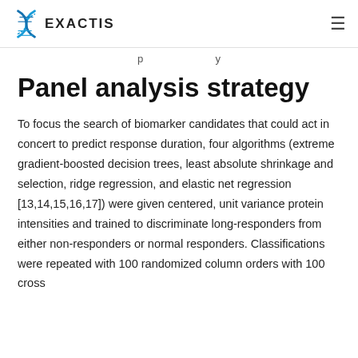EXACTIS
Panel analysis strategy
Panel analysis strategy
To focus the search of biomarker candidates that could act in concert to predict response duration, four algorithms (extreme gradient-boosted decision trees, least absolute shrinkage and selection, ridge regression, and elastic net regression [13,14,15,16,17]) were given centered, unit variance protein intensities and trained to discriminate long-responders from either non-responders or normal responders. Classifications were repeated with 100 randomized column orders with 100 cross